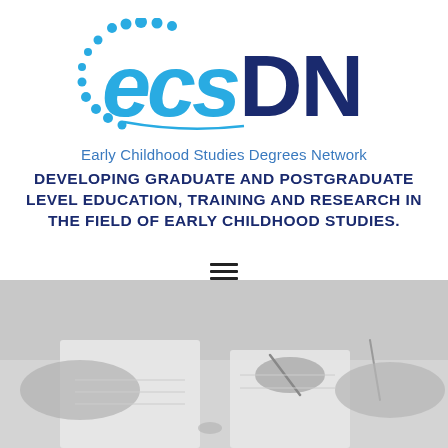[Figure (logo): ECSDN logo — stylized 'ecs' in cyan/dark blue lowercase and 'DN' in large dark blue uppercase letters, with a dotted arc of cyan circles on the left side forming a circular motif]
Early Childhood Studies Degrees Network
DEVELOPING GRADUATE AND POSTGRADUATE LEVEL EDUCATION, TRAINING AND RESEARCH IN THE FIELD OF EARLY CHILDHOOD STUDIES.
[Figure (illustration): Hamburger / navigation menu icon — three horizontal lines]
[Figure (photo): Grayscale photo of hands writing/studying at a desk with notebooks and pens, viewed from above]